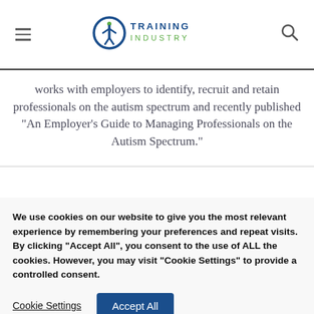Training Industry
works with employers to identify, recruit and retain professionals on the autism spectrum and recently published “An Employer’s Guide to Managing Professionals on the Autism Spectrum.”
We use cookies on our website to give you the most relevant experience by remembering your preferences and repeat visits. By clicking “Accept All”, you consent to the use of ALL the cookies. However, you may visit “Cookie Settings” to provide a controlled consent.
Cookie Settings | Accept All